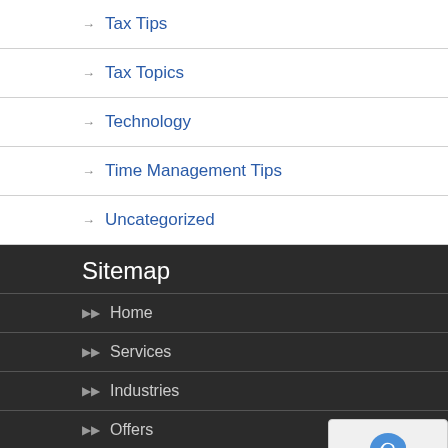→ Tax Tips
→ Tax Topics
→ Technology
→ Time Management Tips
→ Uncategorized
Sitemap
▶▶ Home
▶▶ Services
▶▶ Industries
▶▶ Offers
▶▶ Testimonials